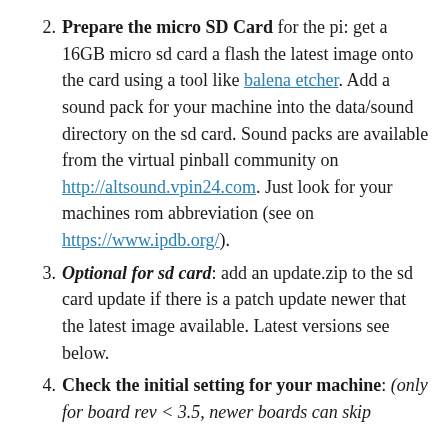2. Prepare the micro SD Card for the pi: get a 16GB micro sd card a flash the latest image onto the card using a tool like balena etcher. Add a sound pack for your machine into the data/sound directory on the sd card. Sound packs are available from the virtual pinball community on http://altsound.vpin24.com. Just look for your machines rom abbreviation (see on https://www.ipdb.org/).
3. Optional for sd card: add an update.zip to the sd card update if there is a patch update newer that the latest image available. Latest versions see below.
4. Check the initial setting for your machine: (only for board rev < 3.5, newer boards can skip